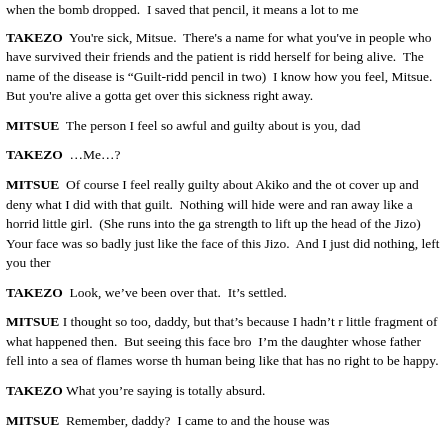when the bomb dropped.  I saved that pencil, it means a lot to me
TAKEZO  You're sick, Mitsue.  There's a name for what you've in people who have survived their friends and the patient is ridd herself for being alive.  The name of the disease is "Guilt-ridd pencil in two)  I know how you feel, Mitsue.  But you're alive a gotta get over this sickness right away.
MITSUE  The person I feel so awful and guilty about is you, dad
TAKEZO  …Me…?
MITSUE  Of course I feel really guilty about Akiko and the ot cover up and deny what I did with that guilt.  Nothing will hide were and ran away like a horrid little girl.  (She runs into the ga strength to lift up the head of the Jizo)  Your face was so badly just like the face of this Jizo.  And I just did nothing, left you ther
TAKEZO  Look, we've been over that.  It's settled.
MITSUE  I thought so too, daddy, but that's because I hadn't r little fragment of what happened then.  But seeing this face bro  I'm the daughter whose father fell into a sea of flames worse th human being like that has no right to be happy.
TAKEZO  What you're saying is totally absurd.
MITSUE  Remember, daddy?  I came to and the house was